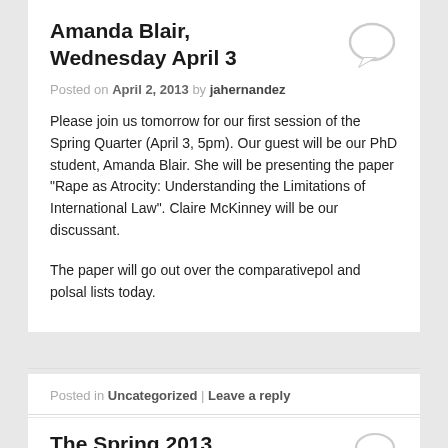Amanda Blair, Wednesday April 3
Posted on April 2, 2013 by jahernandez
Please join us tomorrow for our first session of the Spring Quarter (April 3, 5pm). Our guest will be our PhD student, Amanda Blair. She will be presenting the paper “Rape as Atrocity: Understanding the Limitations of International Law”. Claire McKinney will be our discussant.
The paper will go out over the comparativepol and polsal lists today.
Posted in Uncategorized | Leave a reply
The Spring 2013